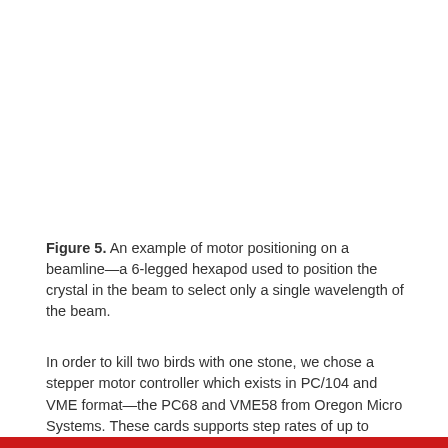Figure 5. An example of motor positioning on a beamline—a 6-legged hexapod used to position the crystal in the beam to select only a single wavelength of the beam.
In order to kill two birds with one stone, we chose a stepper motor controller which exists in PC/104 and VME format—the PC68 and VME58 from Oregon Micro Systems. These cards supports step rates of up to 1MHz, very useful for microstepping where the steps are divided by a factor of 1000 to ensure precise positioning. Both cards implement the same